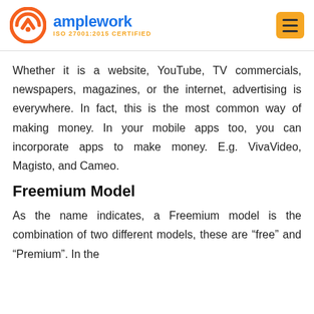amplework ISO 27001:2015 CERTIFIED
Whether it is a website, YouTube, TV commercials, newspapers, magazines, or the internet, advertising is everywhere. In fact, this is the most common way of making money. In your mobile apps too, you can incorporate apps to make money. E.g. VivaVideo, Magisto, and Cameo.
Freemium Model
As the name indicates, a Freemium model is the combination of two different models, these are “free” and “Premium”. In the